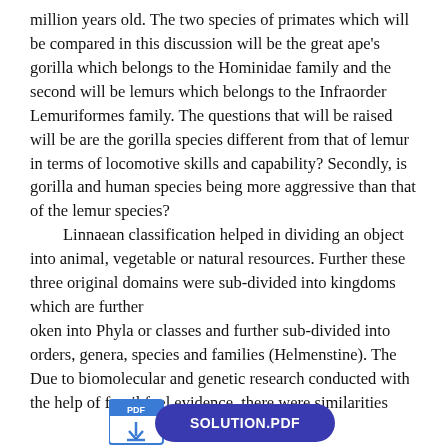million years old. The two species of primates which will be compared in this discussion will be the great ape's gorilla which belongs to the Hominidae family and the second will be lemurs which belongs to the Infraorder Lemuriformes family. The questions that will be raised will be are the gorilla species different from that of lemur in terms of locomotive skills and capability? Secondly, is gorilla and human species being more aggressive than that of the lemur species?
    Linnaean classification helped in dividing an object into animal, vegetable or natural resources. Further these three original domains were sub-divided into kingdoms which are further
oken into Phyla or classes and further sub-divided into orders, genera, species and families (Helmenstine). The Due to biomolecular and genetic research conducted with the help of fossil fuel evidence, there were similarities
[Figure (other): PDF solution banner with PDF icon and blue 'SOLUTION.PDF' button]